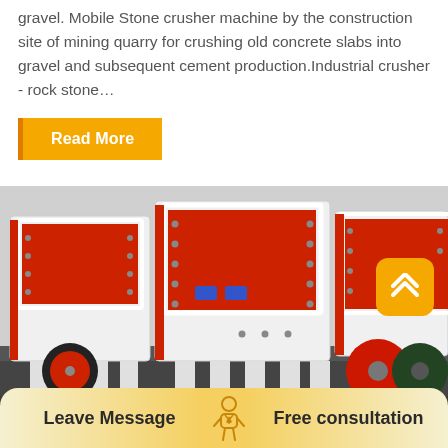gravel. Mobile Stone crusher machine by the construction site of mining quarry for crushing old concrete slabs into gravel and subsequent cement production.Industrial crusher - rock stone…
Read More
[Figure (photo): Industrial stone crusher machines (impact crushers) with white and red painted body, showing open crushing chambers with red interior, black flywheel wheels on the side, displayed in a workshop/factory setting.]
Leave Message
Free consultation